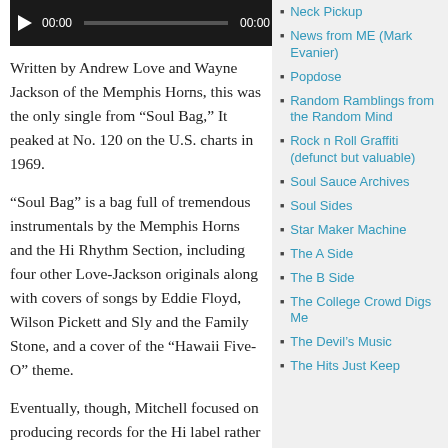[Figure (other): Audio media player with play button, 00:00 start time, progress bar, and 00:00 end time on dark background]
Written by Andrew Love and Wayne Jackson of the Memphis Horns, this was the only single from “Soul Bag,” It peaked at No. 120 on the U.S. charts in 1969.
“Soul Bag” is a bag full of tremendous instrumentals by the Memphis Horns and the Hi Rhythm Section, including four other Love-Jackson originals along with covers of songs by Eddie Floyd, Wilson Pickett and Sly and the Family Stone, and a cover of the “Hawaii Five-O” theme.
Eventually, though, Mitchell focused on producing records for the Hi label rather than recording his own. Only four more LPs followed “Soul Bag,” two each in 1970 and 1971, before Mitchell took a long break
Neck Pickup
News from ME (Mark Evanier)
Popdose
Random Ramblings from the Random Mind
Rock n Roll Graffiti (defunct but valuable)
Soul Sauce Archives
Soul Sides
Star Maker Machine
The A Side
The B Side
The College Crowd Digs Me
The Devil's Music
The Hits Just Keep